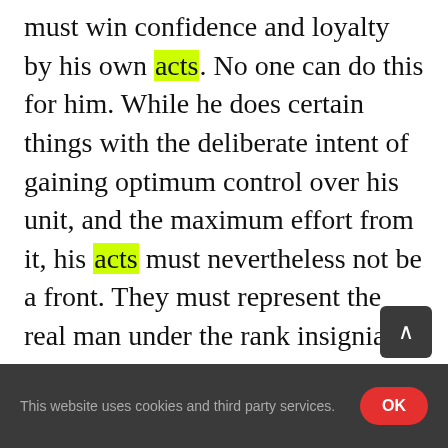must win confidence and loyalty by his own acts. No one can do this for him. While he does certain things with the deliberate intent of gaining optimum control over his unit, and the maximum effort from it, his acts must nevertheless not be a front. They must represent the real man under the rank insignia. Confidence To inspire confidence
This website uses cookies and third party services. OK